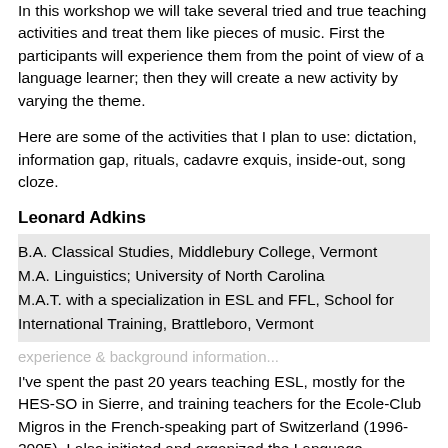In this workshop we will take several tried and true teaching activities and treat them like pieces of music. First the participants will experience them from the point of view of a language learner; then they will create a new activity by varying the theme.
Here are some of the activities that I plan to use: dictation, information gap, rituals, cadavre exquis, inside-out, song cloze.
Leonard Adkins
B.A. Classical Studies, Middlebury College, Vermont
M.A. Linguistics; University of North Carolina
M.A.T. with a specialization in ESL and FFL, School for International Training, Brattleboro, Vermont
I've spent the past 20 years teaching ESL, mostly for the HES-SO in Sierre, and training teachers for the Ecole-Club Migros in the French-speaking part of Switzerland (1996-2005). I also initiated and organized the Language Symposium at the HES-SO in 2008 and 2010, and give